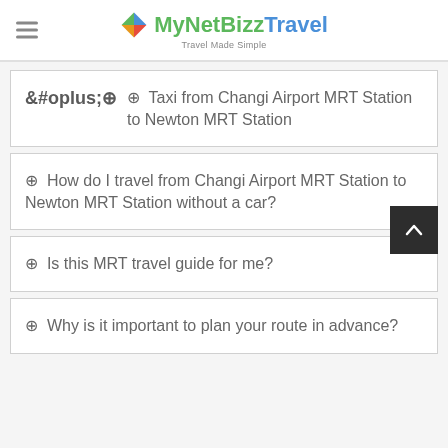MyNetBizzTravel — Travel Made Simple
Taxi from Changi Airport MRT Station to Newton MRT Station
How do I travel from Changi Airport MRT Station to Newton MRT Station without a car?
Is this MRT travel guide for me?
Why is it important to plan your route in advance?